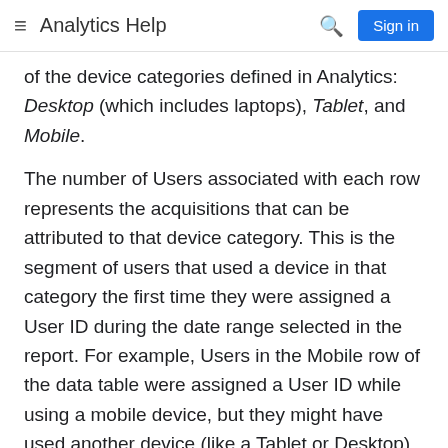Analytics Help
of the device categories defined in Analytics: Desktop (which includes laptops), Tablet, and Mobile.
The number of Users associated with each row represents the acquisitions that can be attributed to that device category. This is the segment of users that used a device in that category the first time they were assigned a User ID during the date range selected in the report. For example, Users in the Mobile row of the data table were assigned a User ID while using a mobile device, but they might have used another device (like a Tablet or Desktop) to engage with content or make a purchase both before and after their mobile session.
The Revenue for Originating Device metric shows you how much revenue was generated on the same device